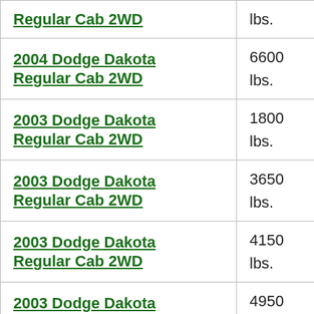| Vehicle | Weight |
| --- | --- |
| Regular Cab 2WD | lbs. |
| 2004 Dodge Dakota Regular Cab 2WD | 6600 lbs. |
| 2003 Dodge Dakota Regular Cab 2WD | 1800 lbs. |
| 2003 Dodge Dakota Regular Cab 2WD | 3650 lbs. |
| 2003 Dodge Dakota Regular Cab 2WD | 4150 lbs. |
| 2003 Dodge Dakota Regular Cab 2WD | 4950 lbs. |